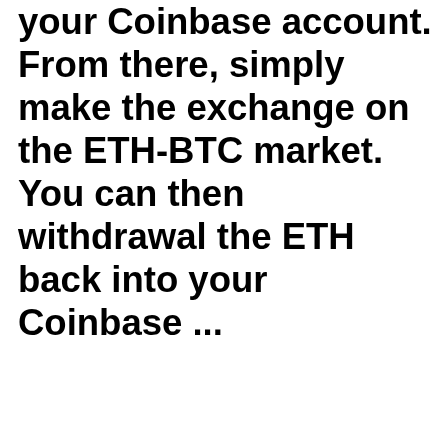your Coinbase account. From there, simply make the exchange on the ETH-BTC market. You can then withdrawal the ETH back into your Coinbase ...
The total value of the transaction stands at around $101.8 million. Whale Alert, a blockchain tracker and crypto analytics Crypto exchange unicorn Coinbase's S-1 filing went public as part of its bid for a direct listing on Nasdaq. Included in that document were hints at a possible token issuance in the future. On page 68 of the filing, as part of its risk disclosures, Coinbase said that it may raise additional capital to 'support business growth.' To that end, the firm could issue new shares or stock